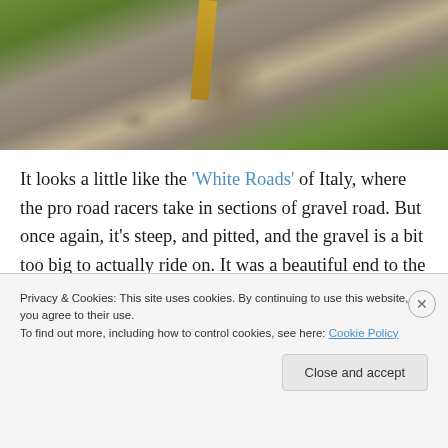[Figure (photo): Top portion of a gravel path or dirt road with green grass on either side and a yellow-orange stripe visible, resembling a 'White Roads' gravel track.]
It looks a little like the 'White Roads' of Italy, where the pro road racers take in sections of gravel road. But once again, it's steep, and pitted, and the gravel is a bit too big to actually ride on. It was a beautiful end to the day, but I
Privacy & Cookies: This site uses cookies. By continuing to use this website, you agree to their use.
To find out more, including how to control cookies, see here: Cookie Policy